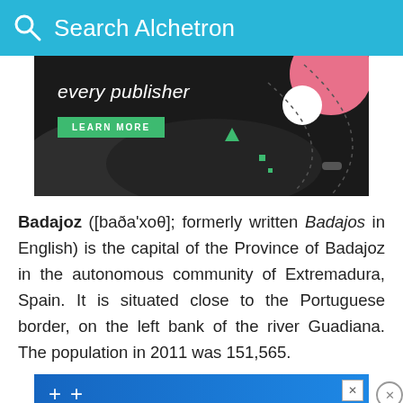Search Alchetron
[Figure (screenshot): Dark advertisement banner with text 'every publisher' in italic white, a green 'LEARN MORE' button, pink and white circles on right side, and dotted lines on dark background.]
Badajoz ([baða'xoθ]; formerly written Badajos in English) is the capital of the Province of Badajoz in the autonomous community of Extremadura, Spain. It is situated close to the Portuguese border, on the left bank of the river Guadiana. The population in 2011 was 151,565.
[Figure (screenshot): Blue advertisement banner with plus signs and a close/X button, followed by an Ulta beauty advertisement bar showing makeup imagery, ULTA logo, SHOP NOW text, and id-19 label.]